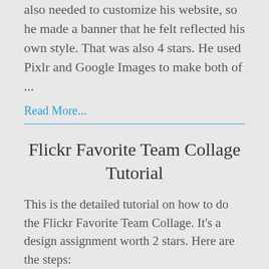also needed to customize his website, so he made a banner that he felt reflected his own style. That was also 4 stars. He used Pixlr and Google Images to make both of ...
Read More...
Flickr Favorite Team Collage Tutorial
This is the detailed tutorial on how to do the Flickr Favorite Team Collage. It’s a design assignment worth 2 stars. Here are the steps:
Step 1: Go to the search icon on either your web or phone Flickr app. Search your for your favorite team...